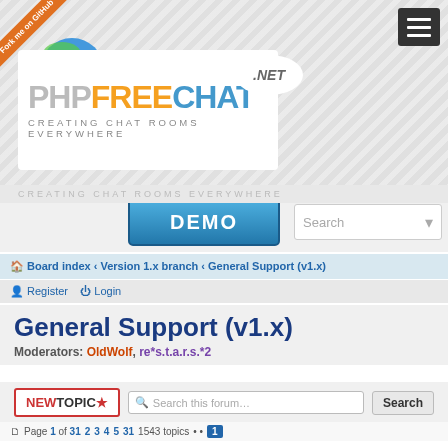[Figure (screenshot): PHPFreeChat.NET website header with parrot mascot logo, 'Fork me on GitHub' ribbon, hamburger menu, DEMO button, and search box]
Board index › Version 1.x branch › General Support (v1.x)
Register  Login
General Support (v1.x)
Moderators: OldWolf, re*s.t.a.r.s.*2
NEW TOPIC ★  Search this forum…  Search
Page 1 of 31  2 3 4 5 31  1543 topics